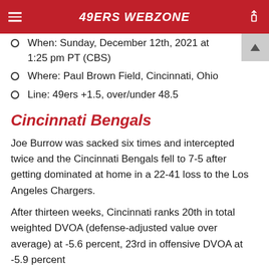49ERS WEBZONE
When: Sunday, December 12th, 2021 at 1:25 pm PT (CBS)
Where: Paul Brown Field, Cincinnati, Ohio
Line: 49ers +1.5, over/under 48.5
Cincinnati Bengals
Joe Burrow was sacked six times and intercepted twice and the Cincinnati Bengals fell to 7-5 after getting dominated at home in a 22-41 loss to the Los Angeles Chargers.
After thirteen weeks, Cincinnati ranks 20th in total weighted DVOA (defense-adjusted value over average) at -5.6 percent, 23rd in offensive DVOA at -5.9 percent